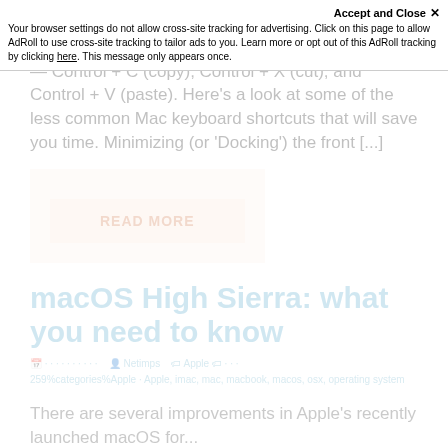If you're an experienced Mac user, you've probably mastered many of the handiest keyboard shortcuts — Control + C (copy), Control + X (cut), and Control + V (paste). Here's a look at some of the less common Mac keyboard shortcuts that will save you time. Minimizing (or 'Docking') the front [...]
READ MORE
macOS High Sierra: what you need to know
There are several improvements in Apple's recently launched macOS for...
Accept and Close ×
Your browser settings do not allow cross-site tracking for advertising. Click on this page to allow AdRoll to use cross-site tracking to tailor ads to you. Learn more or opt out of this AdRoll tracking by clicking here. This message only appears once.